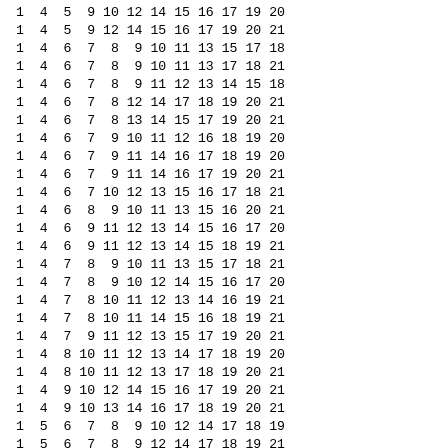1  4  5  9 10 12 14 15 16 17 19 20
 1  4  5  9 12 14 15 16 17 19 20 21
 1  4  6  7  8  9 10 11 13 15 17 18
 1  4  6  7  8  9 10 11 13 17 18 21
 1  4  6  7  8  9 11 12 13 14 15 18
 1  4  6  7  8 12 14 17 18 19 20 21
 1  4  6  7  8 13 14 15 17 19 20 21
 1  4  6  7  9 10 11 12 16 18 19 20
 1  4  6  7  9 11 14 16 17 18 19 20
 1  4  6  7  9 11 14 16 17 19 20 21
 1  4  6  7 10 12 13 15 16 17 18 21
 1  4  6  8  9 10 11 13 15 16 20 21
 1  4  6  9 11 12 13 14 15 16 17 20
 1  4  6  9 11 12 13 14 15 18 19 21
 1  4  7  8  9 10 11 13 15 17 18 21
 1  4  7  8  9 10 12 14 15 16 17 20
 1  4  7  8 10 11 12 13 14 16 19 21
 1  4  7  8 10 11 14 15 16 18 19 21
 1  4  7  9 11 12 13 15 17 19 20 21
 1  4  8 10 11 12 13 14 17 18 19 20
 1  4  8 10 11 12 13 17 18 19 20 21
 1  4  9 10 12 14 15 16 17 19 20 21
 1  4  9 10 13 14 16 17 18 19 20 21
 1  5  6  7  8  9 10 12 14 17 18 19
 1  5  6  7  8  9 12 14 17 18 19 21
 1  5  6  7  8 10 11 12 13 14 15 18
 1  5  6  7  8 10 11 12 14 15 18 20
 1  5  6  7  8 10 12 15 16 19 20 21
 1  5  6  7  8 11 13 15 17 18 20 21
 1  5  6  7  9 10 13 14 15 16 18 20